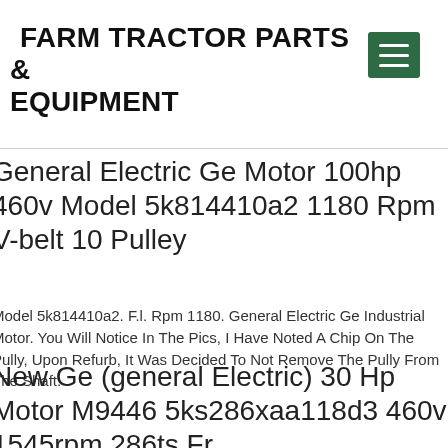FARM TRACTOR PARTS & EQUIPMENT
[Figure (other): Green hamburger menu button icon with three white horizontal lines]
General Electric Ge Motor 100hp 460v Model 5k814410a2 1180 Rpm V-belt 10 Pulley
Model 5k814410a2. F.l. Rpm 1180. General Electric Ge Industrial Motor. You Will Notice In The Pics, I Have Noted A Chip On The Pully, Upon Refurb, It Was Decided To Not Remove The Pully From The Shaft.
New Ge (general Electric) 30 Hp Motor M9446 5ks286xaa118d3 460v 1545rpm 286ts Fr